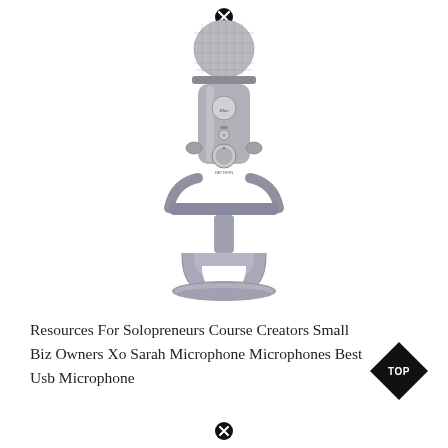[Figure (photo): Blue Yeti USB microphone in silver/grey finish on its stand, front view, with a black circle X close button at the top]
Resources For Solopreneurs Course Creators Small Biz Owners Xo Sarah Microphone Microphones Best Usb Microphone
[Figure (illustration): Black diamond TOP badge/logo in bottom right corner]
[Figure (illustration): Black circle X close button at bottom center]